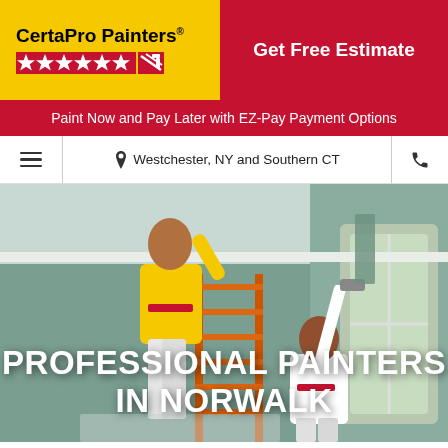[Figure (logo): CertaPro Painters logo on yellow background with red star row]
Get Free Estimate
Paint Now and Pay Later with EZ-Pay Payment Options
Westchester, NY and Southern CT
[Figure (photo): Two painters in yellow and white CertaPro Painters shirts working inside a room, one on a ladder painting the ceiling, one using a roller on the wall trim. Room has sage green walls and white crown molding.]
PROFESSIONAL PAINTERS IN NORWALK